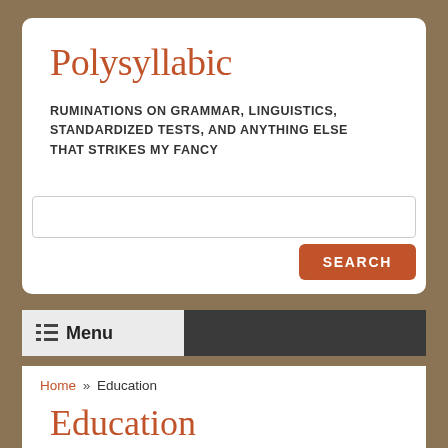Polysyllabic
RUMINATIONS ON GRAMMAR, LINGUISTICS, STANDARDIZED TESTS, AND ANYTHING ELSE THAT STRIKES MY FANCY
Menu
Home » Education
Education
Preface